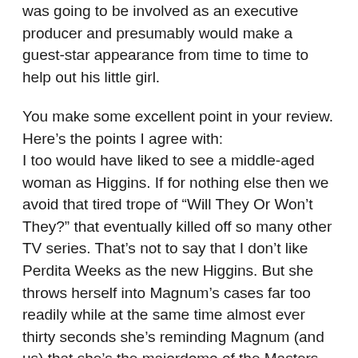was going to be involved as an executive producer and presumably would make a guest-star appearance from time to time to help out his little girl.
You make some excellent point in your review. Here's the points I agree with: I too would have liked to see a middle-aged woman as Higgins. If for nothing else then we avoid that tired trope of “Will They Or Won’t They?” that eventually killed off so many other TV series. That’s not to say that I don’t like Perdita Weeks as the new Higgins. But she throws herself into Magnum’s cases far too readily while at the same time almost ever thirty seconds she’s reminding Magnum (and us) that she’s the majordomo of the Masters Estate. In